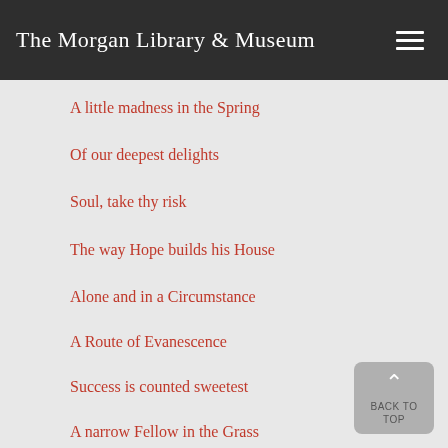The Morgan Library & Museum
A little madness in the Spring
Of our deepest delights
Soul, take thy risk
The way Hope builds his House
Alone and in a Circumstance
A Route of Evanescence
Success is counted sweetest
A narrow Fellow in the Grass
Blazing in gold and quenching in purple
These are the days when Birds come back –